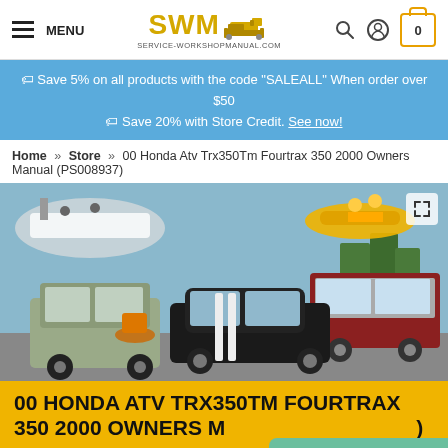MENU | SWM SERVICE-WORKSHOPMANUAL.COM | Search | Account | Cart 0
🏷 Save 5% on all products with the code "SALEALL" When order over $50
🏷 Save 20% with Store Credit. See now!
Home » Store » 00 Honda Atv Trx350Tm Fourtrax 350 2000 Owners Manual (PS008937)
[Figure (photo): Collage of vehicles including a boat with people, a jet ski, a Jeep SUV, a dirt bike, a classic black car, and a large RV bus on a road]
00 HONDA ATV TRX350TM FOURTRAX 350 2000 OWNERS M...
Not sure about this item?